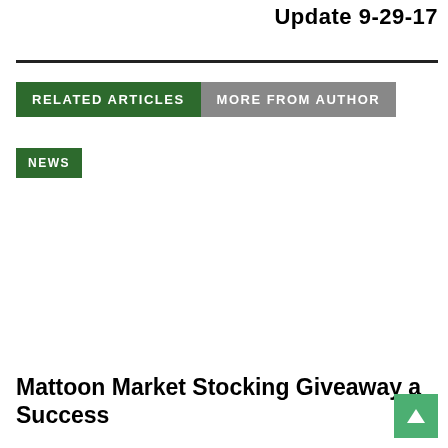Update 9-29-17
RELATED ARTICLES   MORE FROM AUTHOR
NEWS
Mattoon Market Stocking Giveaway a Success